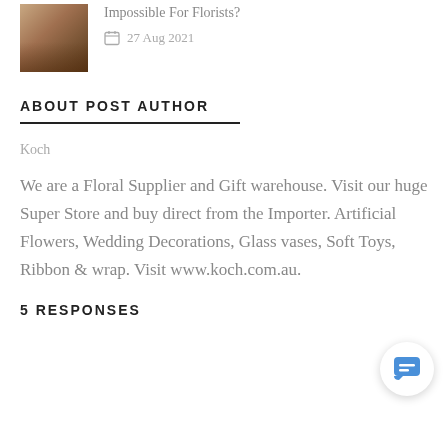[Figure (photo): Small thumbnail photo of a person, brownish warm tones]
Impossible For Florists?
27 Aug 2021
ABOUT POST AUTHOR
Koch
We are a Floral Supplier and Gift warehouse. Visit our huge Super Store and buy direct from the Importer. Artificial Flowers, Wedding Decorations, Glass vases, Soft Toys, Ribbon & wrap. Visit www.koch.com.au.
5 RESPONSES